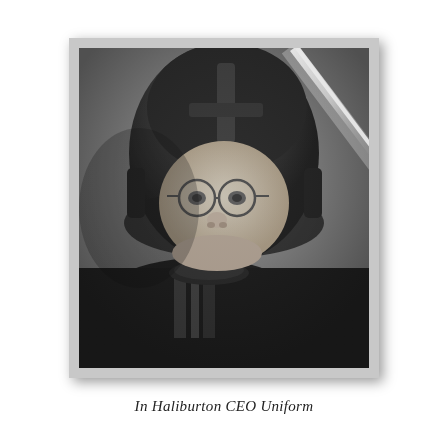[Figure (photo): Black and white photographic composite/caricature showing a man's face (wearing round glasses) digitally placed onto a Darth Vader costume from Star Wars, including the iconic black helmet. A bright lightsaber extends diagonally in the upper right. The image is presented in a white-bordered polaroid-style frame with a gray drop shadow.]
In Haliburton CEO Uniform